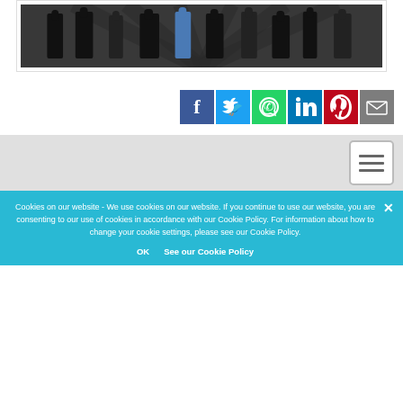[Figure (photo): Group of people standing together photographed from below/ground level on a dark surface]
[Figure (infographic): Row of social media share buttons: Facebook (blue), Twitter (light blue), WhatsApp (green), LinkedIn (dark blue), Pinterest (red), Email (gray)]
[Figure (other): Gray section with hamburger menu button (three horizontal lines) in white rounded square on right side]
Cookies on our website - We use cookies on our website. If you continue to use our website, you are consenting to our use of cookies in accordance with our Cookie Policy. For information about how to change your cookie settings, please see our Cookie Policy.
OK   See our Cookie Policy